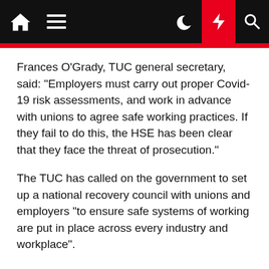[Navigation bar with home, menu, dark mode, flash, and search icons]
Frances O'Grady, TUC general secretary, said: "Employers must carry out proper Covid-19 risk assessments, and work in advance with unions to agree safe working practices. If they fail to do this, the HSE has been clear that they face the threat of prosecution."
The TUC has called on the government to set up a national recovery council with unions and employers "to ensure safe systems of working are put in place across every industry and workplace".
Union officials also believe that some care homes and hospital trusts could face legal action where there is "clear evidence" that they have failed to protect staff from the pandemic.